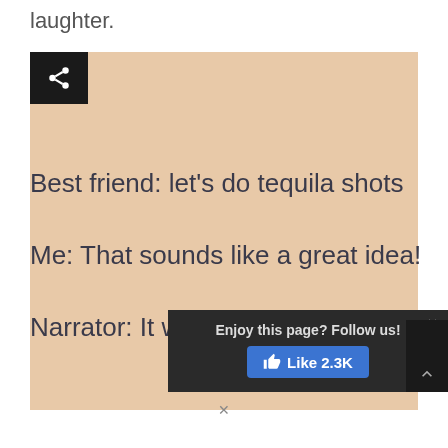laughter.
[Figure (screenshot): Meme on a peach/tan background with text: Best friend: let's do tequila shots / Me: That sounds like a great idea! / Narrator: It was not a great idea... with a share button and a popup overlay saying 'Enjoy this page? Follow us!' with a Like 2.3K button]
Enjoy this page? Follow us!
Like 2.3K